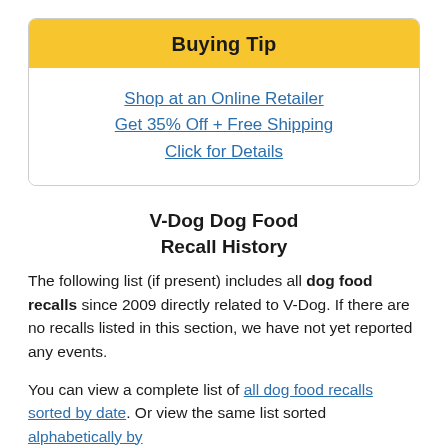Buying Tip
Shop at an Online Retailer
Get 35% Off + Free Shipping
Click for Details
V-Dog Dog Food Recall History
The following list (if present) includes all dog food recalls since 2009 directly related to V-Dog. If there are no recalls listed in this section, we have not yet reported any events.
You can view a complete list of all dog food recalls sorted by date. Or view the same list sorted alphabetically by